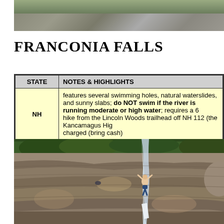[Figure (photo): Partial view of rocky terrain and natural scenery at the top of the page]
FRANCONIA FALLS
| STATE | NOTES & HIGHLIGHTS |
| --- | --- |
| NH | features several swimming holes, natural waterslides, and sunny slabs; do NOT swim if the river is running moderate or high water; requires a 6 hike from the Lincoln Woods trailhead off NH 112 (the Kancamagus Hig... charged (bring cash) |
[Figure (photo): Person sliding down a natural rock waterslide at Franconia Falls, with smooth granite slabs, green forest in background, and rushing water]